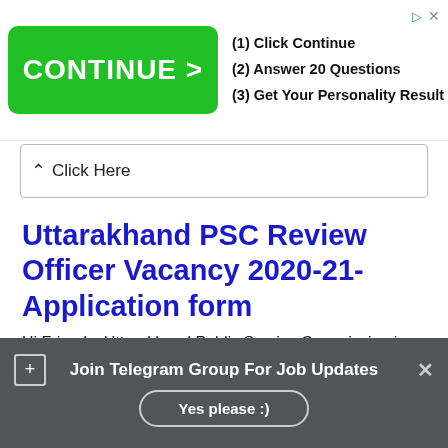[Figure (screenshot): Advertisement banner with green CONTINUE button and text: (1) Click Continue, (2) Answer 20 Questions, (3) Get Your Personality Result]
Click Here
Uttarakhand PSC Review Officer Vacancy 2020-21- Application form
Hi Friends, Uttarakhand Public Service Commission is going to recruit RO, ARO posts in the year 2021. Notification for this recruitment released in the month of January. According to the demand letter received
Join Telegram Group For Job Updates
Yes please :)